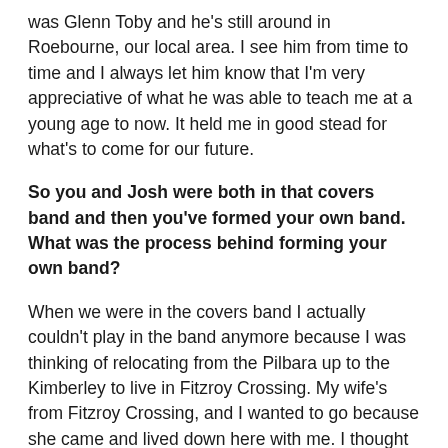was Glenn Toby and he's still around in Roebourne, our local area. I see him from time to time and I always let him know that I'm very appreciative of what he was able to teach me at a young age to now. It held me in good stead for what's to come for our future.
So you and Josh were both in that covers band and then you've formed your own band. What was the process behind forming your own band?
When we were in the covers band I actually couldn't play in the band anymore because I was thinking of relocating from the Pilbara up to the Kimberley to live in Fitzroy Crossing. My wife's from Fitzroy Crossing, and I wanted to go because she came and lived down here with me. I thought I'd return the favour and head